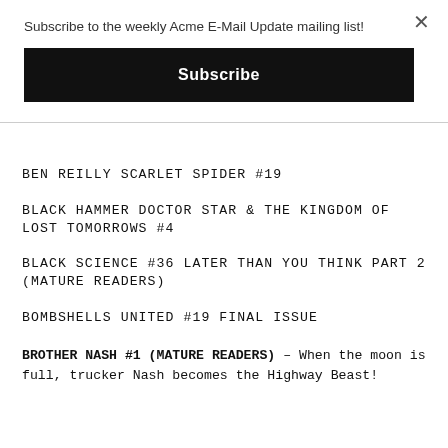Subscribe to the weekly Acme E-Mail Update mailing list!
Subscribe
BEN REILLY SCARLET SPIDER #19
BLACK HAMMER DOCTOR STAR & THE KINGDOM OF LOST TOMORROWS #4
BLACK SCIENCE #36 LATER THAN YOU THINK PART 2 (MATURE READERS)
BOMBSHELLS UNITED #19 FINAL ISSUE
BROTHER NASH #1 (MATURE READERS) – When the moon is full, trucker Nash becomes the Highway Beast!